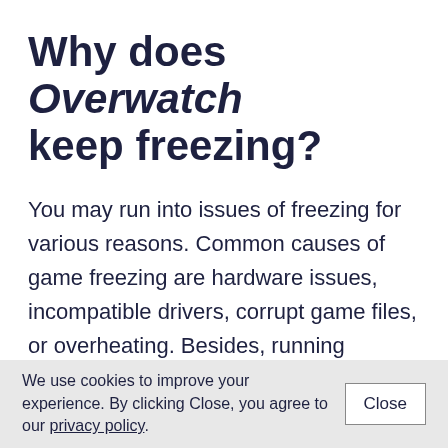Why does Overwatch keep freezing?
You may run into issues of freezing for various reasons. Common causes of game freezing are hardware issues, incompatible drivers, corrupt game files, or overheating. Besides, running multiple programs on your computer at the same time can hog your resources and
We use cookies to improve your experience. By clicking Close, you agree to our privacy policy.